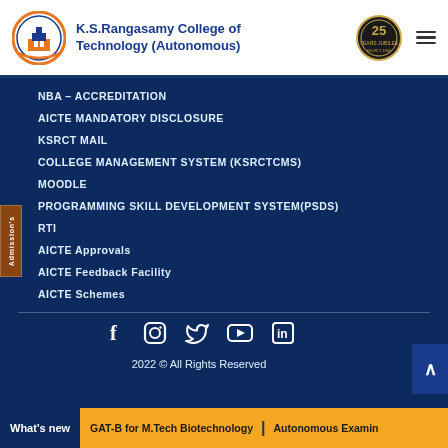K.S.Rangasamy College of Technology (Autonomous)
NBA – ACCREDITATION
AICTE MANDATORY DISCLOSURE
KSRCT MAIL
COLLEGE MANAGEMENT SYSTEM (KSRCTCMS)
MOODLE
PROGRAMMING SKILL DEVELOPMENT SYSTEM(PSDS)
RTI
AICTE Approvals
AICTE Feedback Facility
AICTE Schemes
2022 © All Rights Reserved
What's new  GAT-B for M.Tech Biotechnology  |  Autonomous Examin...